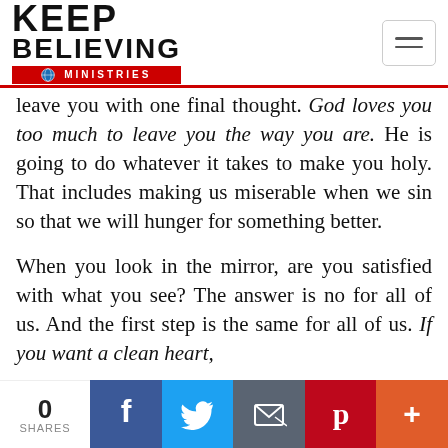Keep Believing Ministries — navigation header
leave you with one final thought. God loves you too much to leave you the way you are. He is going to do whatever it takes to make you holy. That includes making us miserable when we sin so that we will hunger for something better.

When you look in the mirror, are you satisfied with what you see? The answer is no for all of us. And the first step is the same for all of us. If you want a clean heart,
0 SHARES | Share on Facebook | Share on Twitter | Email | Share on Pinterest | More